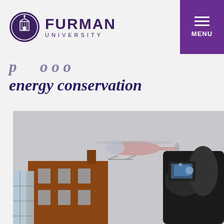Furman University
energy conservation
[Figure (photo): Person wearing black gloves photographing a helicopter flying over a brick university building in winter/overcast conditions. The person is holding a small camera or phone up to capture the image.]